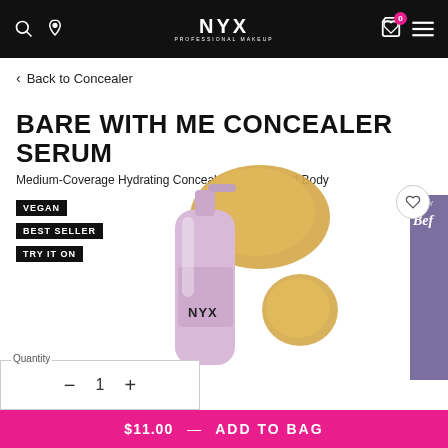NYX PROFESSIONAL MAKEUP
< Back to Concealer
BARE WITH ME CONCEALER SERUM
Medium-Coverage Hydrating Concealer for Face and Body
VEGAN
BEST SELLER
TRY IT ON
[Figure (photo): NYX Bare With Me Concealer Serum bottle in pink/lavender with concealer swatches in golden beige tone]
Quantity
1
$11.00 — ADD TO BAG